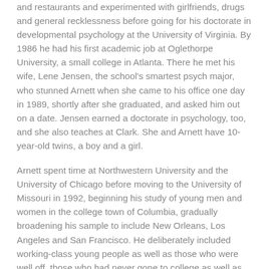and restaurants and experimented with girlfriends, drugs and general recklessness before going for his doctorate in developmental psychology at the University of Virginia. By 1986 he had his first academic job at Oglethorpe University, a small college in Atlanta. There he met his wife, Lene Jensen, the school's smartest psych major, who stunned Arnett when she came to his office one day in 1989, shortly after she graduated, and asked him out on a date. Jensen earned a doctorate in psychology, too, and she also teaches at Clark. She and Arnett have 10-year-old twins, a boy and a girl.
Arnett spent time at Northwestern University and the University of Chicago before moving to the University of Missouri in 1992, beginning his study of young men and women in the college town of Columbia, gradually broadening his sample to include New Orleans, Los Angeles and San Francisco. He deliberately included working-class young people as well as those who were well off, those who had never gone to college as well as those who were still in school, those who were supporting themselves as well as those whose bills were being paid by their parents. A little